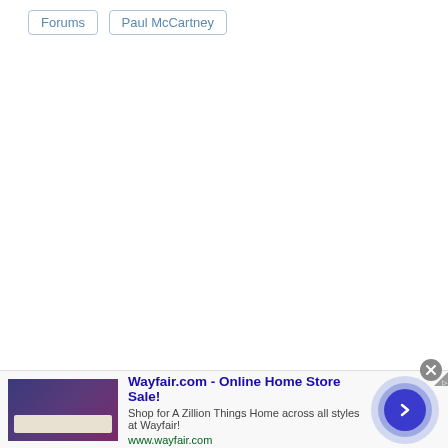Forums
Paul McCartney
[Figure (screenshot): Advertisement banner for Wayfair.com featuring a home store image on the left, ad text in the center, and a circular arrow navigation button on the right. Close button (X) in top-right corner of banner.]
Wayfair.com - Online Home Store Sale!
Shop for A Zillion Things Home across all styles at Wayfair!
www.wayfair.com